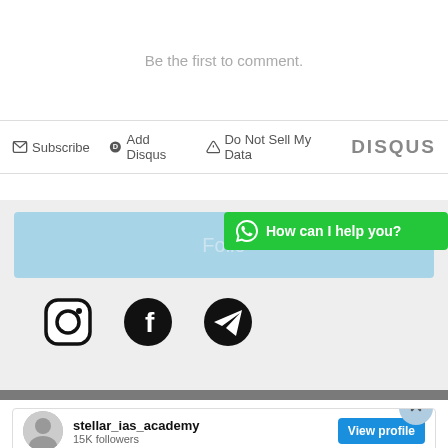Be the first to comment.
Subscribe  Add Disqus  Do Not Sell My Data  DISQUS
Follo...
[Figure (screenshot): WhatsApp chat button with text 'How can I help you?']
[Figure (screenshot): Social media icons: Instagram, Facebook, Telegram]
[Figure (screenshot): Instagram embed for stellar_ias_academy with 15K followers and post 'Why is India considered']
stellar_ias_academy
15K followers
View profile
Why is India considered